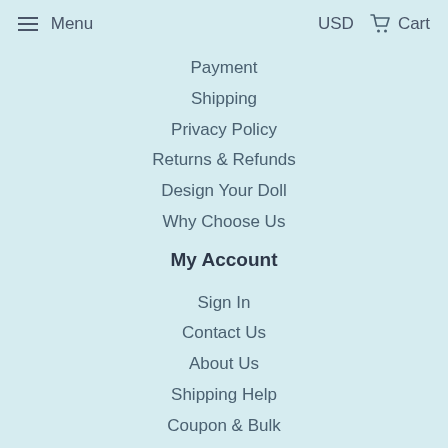Menu   USD   Cart
Payment
Shipping
Privacy Policy
Returns & Refunds
Design Your Doll
Why Choose Us
My Account
Sign In
Contact Us
About Us
Shipping Help
Coupon & Bulk
Bobbleheads Blog
Newsletter